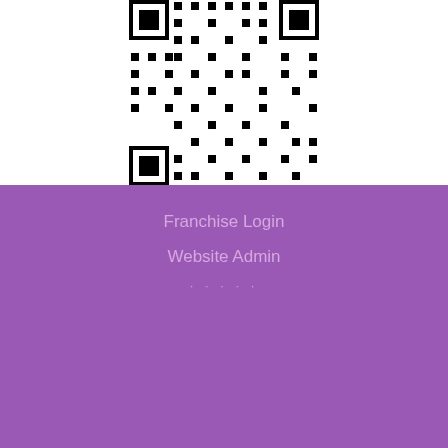[Figure (other): QR code image in black and white, partially visible at the top of the page]
Franchise Login
Website Admin
· · · · ·
This website uses cookies to ensure you get the best experience on our website. Learn more
Got it!